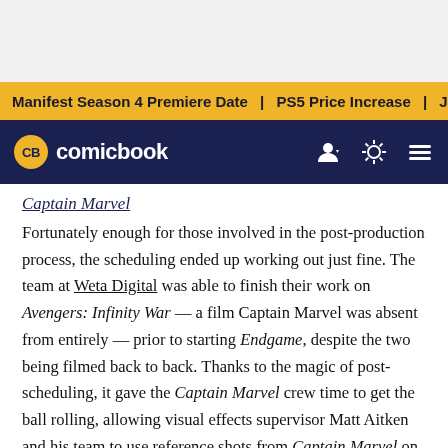Manifest Season 4 Premiere Date | PS5 Price Increase | Jon M
comicbook
Captain Marvel
Fortunately enough for those involved in the post-production process, the scheduling ended up working out just fine. The team at Weta Digital was able to finish their work on Avengers: Infinity War — a film Captain Marvel was absent from entirely — prior to starting Endgame, despite the two being filmed back to back. Thanks to the magic of post-scheduling, it gave the Captain Marvel crew time to get the ball rolling, allowing visual effects supervisor Matt Aitken and his team to use reference shots from Captain Marvel on their take of the fan-favorite character.